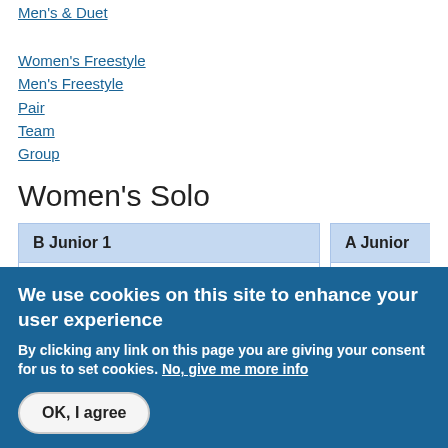Men's & Duet (partial, cropped)
Women's Freestyle
Men's Freestyle
Pair
Team
Group
Women's Solo
| Place | FINAL |  |  |
| --- | --- | --- | --- |
| 1 | Ruby QUINN | SCOTLAND |  |
| 2 | Drew FINNIE | SCOTLAND |  |
| 3 | Michaela JANÁČKOVÁ (partial) | CZECH REPUBLIC (partial) |  |
| Place | FINAL (partial) |
| --- | --- |
| 1 | Tyra (partial) |
| 2 | Abbie (partial) |
| 3 | (partial) |
We use cookies on this site to enhance your user experience
By clicking any link on this page you are giving your consent for us to set cookies. No, give me more info
OK, I agree